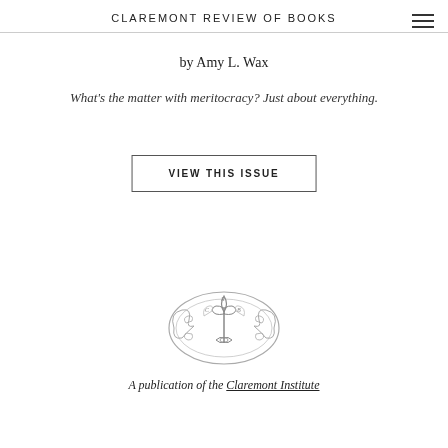CLAREMONT REVIEW OF BOOKS
by Amy L. Wax
What's the matter with meritocracy? Just about everything.
VIEW THIS ISSUE
[Figure (logo): Claremont Review of Books ornamental seal/logo featuring a fleur-de-lis with decorative scrollwork, letters C, R, B inside an oval border]
A publication of the Claremont Institute